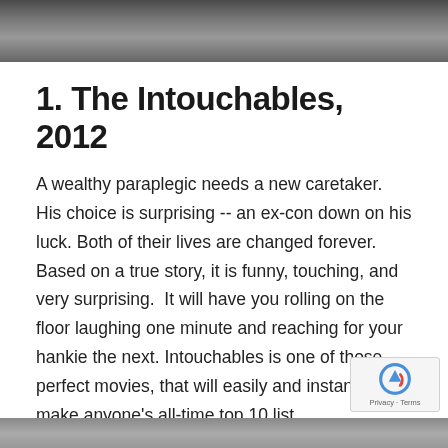[Figure (photo): Top portion of a photo showing people walking, partially cropped at the top of the page]
1. The Intouchables, 2012
A wealthy paraplegic needs a new caretaker. His choice is surprising -- an ex-con down on his luck. Both of their lives are changed forever. Based on a true story, it is funny, touching, and very surprising.  It will have you rolling on the floor laughing one minute and reaching for your hankie the next. Intouchables is one of those perfect movies, that will easily and instantly make anyone’s all-time top 10 list.
[Figure (photo): Bottom strip of a photo, partially visible at the bottom of the page]